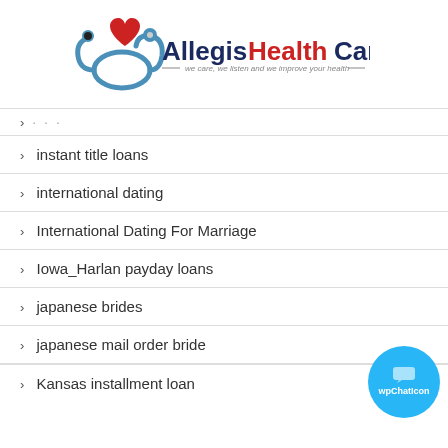[Figure (logo): Allegis HealthCare logo with red heart and stethoscope, tagline: we care, we listen and we improve your health]
instant title loans
international dating
International Dating For Marriage
Iowa_Harlan payday loans
japanese brides
japanese mail order bride
Kansas installment loan